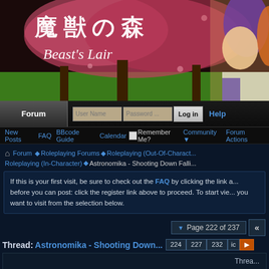[Figure (illustration): Beast's Lair anime forum banner with Japanese text '魔獣の森' and subtitle 'Beast's Lair' over a cherry blossom background with anime character on the right]
Forum | User Name | Password | Log in | Help | New Posts | FAQ | BBcode Guide | Calendar | Community | Forum Actions | Remember Me?
Forum ▶ Roleplaying Forums ▶ Roleplaying (Out-Of-Character) Roleplaying (In-Character) ▶ Astronomika - Shooting Down Falli...
If this is your first visit, be sure to check out the FAQ by clicking the link a... before you can post: click the register link above to proceed. To start vie... you want to visit from the selection below.
Page 222 of 237
Thread: Astronomika - Shooting Down... 224 227 232 ... ▶
Threa...
Ed...tod at 9009, 11:30 PM...